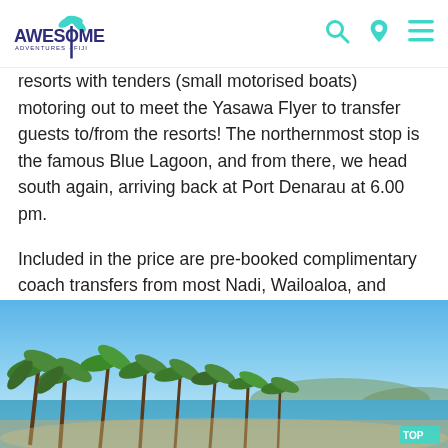Awesome Adventures Fiji — navigation header with logo and icons
resorts with tenders (small motorised boats) motoring out to meet the Yasawa Flyer to transfer guests to/from the resorts! The northernmost stop is the famous Blue Lagoon, and from there, we head south again, arriving back at Port Denarau at 6.00 pm.
Included in the price are pre-booked complimentary coach transfers from most Nadi, Wailoaloa, and Denarau hotels to/from Port Denarau.
For more information visit our 'Transfers FAQs'.
[Figure (photo): Tropical beach scene with palm trees lining the shore under a blue sky, viewed from a low angle showing dense green palm fronds and a calm body of water in the background.]